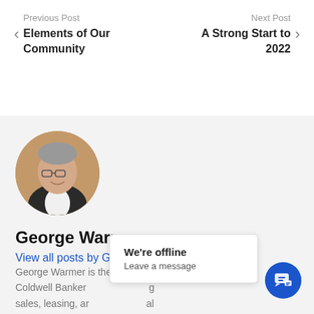< Previous Post
Elements of Our Community
Next Post >
A Strong Start to 2022
[Figure (photo): Circular profile photo of George Warmer, a middle-aged man with glasses wearing a dark blazer and white shirt, smiling]
George Warmer
View all posts by George Warmer
George Warmer is the Managing Broker of Coldwell Banker... g sales, leasing, ar al
We're offline
Leave a message